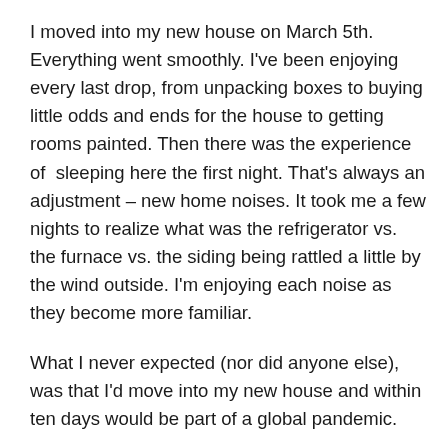I moved into my new house on March 5th. Everything went smoothly. I've been enjoying every last drop, from unpacking boxes to buying little odds and ends for the house to getting rooms painted. Then there was the experience of sleeping here the first night. That's always an adjustment – new home noises. It took me a few nights to realize what was the refrigerator vs. the furnace vs. the siding being rattled a little by the wind outside. I'm enjoying each noise as they become more familiar.
What I never expected (nor did anyone else), was that I'd move into my new house and within ten days would be part of a global pandemic.
Although this is a horrible situation, I couldn't imagine being anywhere better than in my own at this time.